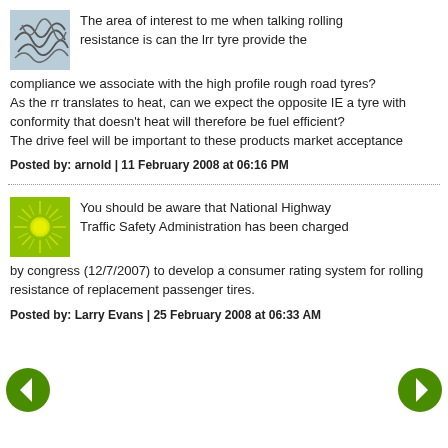[Figure (illustration): Abstract line drawing avatar icon on light blue-grey background]
The area of interest to me when talking rolling resistance is can the lrr tyre provide the compliance we associate with the high profile rough road tyres?
As the rr translates to heat, can we expect the opposite IE a tyre with conformity that doesn't heat will therefore be fuel efficient?
The drive feel will be important to these products market acceptance
Posted by: arnold | 11 February 2008 at 06:16 PM
[Figure (illustration): Sun/starburst icon on yellow-green background]
You should be aware that National Highway Traffic Safety Administration has been charged by congress (12/7/2007) to develop a consumer rating system for rolling resistance of replacement passenger tires.
Posted by: Larry Evans | 25 February 2008 at 06:33 AM